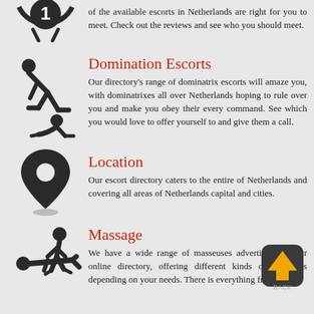[Figure (illustration): Partial clock/timer icon with number 1, cropped at top]
of the available escorts in Netherlands are right for you to meet. Check out the reviews and see who you should meet.
[Figure (illustration): Domination/BDSM stick figure icon in dark color]
Domination Escorts
Our directory's range of dominatrix escorts will amaze you, with dominatrixes all over Netherlands hoping to rule over you and make you obey their every command. See which you would love to offer yourself to and give them a call.
[Figure (illustration): Map pin/location icon in dark color]
Location
Our escort directory caters to the entire of Netherlands and covering all areas of Netherlands capital and cities.
[Figure (illustration): Massage stick figure icon in dark color]
Massage
We have a wide range of masseuses advertising on our online directory, offering different kinds of massages depending on your needs. There is everything from sports
[Figure (illustration): Back navigation button with upward arrow, dark rounded square with gold arrow and BACK text]